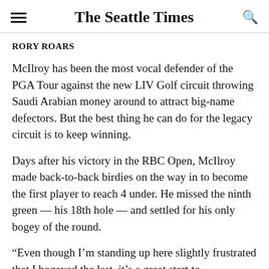The Seattle Times
RORY ROARS
McIlroy has been the most vocal defender of the PGA Tour against the new LIV Golf circuit throwing Saudi Arabian money around to attract big-name defectors. But the best thing he can do for the legacy circuit is to keep winning.
Days after his victory in the RBC Open, McIlroy made back-to-back birdies on the way in to become the first player to reach 4 under. He missed the ninth green — his 18th hole — and settled for his only bogey of the round.
“Even though I’m standing up here slightly frustrated that I bogeyed the last, it’s a great start to